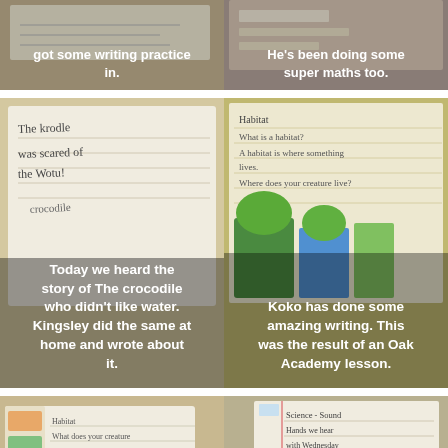[Figure (photo): Child's handwritten work on paper with text partially visible, caption overlay reading 'got some writing practice in.']
got some writing practice in.
[Figure (photo): Child's notebook or worksheet, caption overlay reading 'He's been doing some super maths too.']
He's been doing some super maths too.
[Figure (photo): Child's handwriting on lined paper showing a story about a crocodile, with caption overlay.]
Today we heard the story of The crocodile who didn't like water. Kingsley did the same at home and wrote about it.
[Figure (photo): Child's colourful writing and drawing about habitat, Koko's work from an Oak Academy lesson.]
Koko has done some amazing writing. This was the result of an Oak Academy lesson.
[Figure (photo): Notebook with stickers and handwriting, pen visible, worksheet layout.]
[Figure (photo): Handwritten science notes about sound: 'Science - Sound', 'Sound is a wave of vibrations that move through the air...']